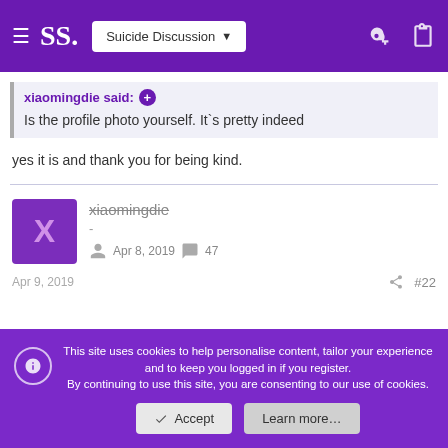SS. Suicide Discussion
xiaomingdie said:
Is the profile photo yourself. It`s pretty indeed
yes it is and thank you for being kind.
xiaomingdie
-
Apr 8, 2019  47
Apr 9, 2019  #22
This site uses cookies to help personalise content, tailor your experience and to keep you logged in if you register.
By continuing to use this site, you are consenting to our use of cookies.